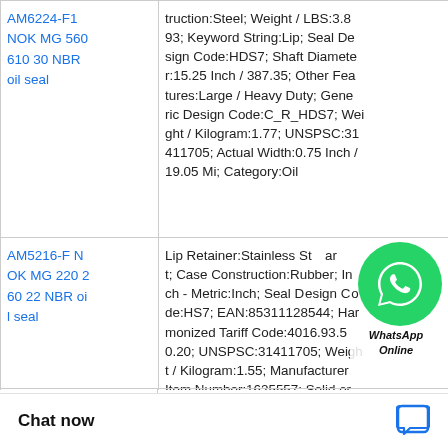| Product | Specifications |
| --- | --- |
| AM6224-F1 NOK MG 560 610 30 NBR oil seal | truction:Steel; Weight / LBS:3.893; Keyword String:Lip; Seal Design Code:HDS7; Shaft Diameter:15.25 Inch / 387.35; Other Features:Large / Heavy Duty; Generic Design Code:C_R_HDS7; Weight / Kilogram:1.77; UNSPSC:31411705; Actual Width:0.75 Inch / 19.05 Mi; Category:Oil |
| AM5216-F NOK MG 220 260 22 NBR oil seal | Lip Retainer:Stainless Steel; Case Construction:Rubber; Inch - Metric:Inch; Seal Design Code:HS7; EAN:85311128544; Harmonized Tariff Code:4016.93.50.20; UNSPSC:31411705; Weight / Kilogram:1.55; Manufacturer Item Number:1625557; Solid or Split Seal:Split; Weight / LBS:3.423; Manufacturer Name:SK |
|  | 8305; Weight / Kil ... Category:Oil Seal |
[Figure (other): WhatsApp Online chat button overlay in top-right area]
Chat now